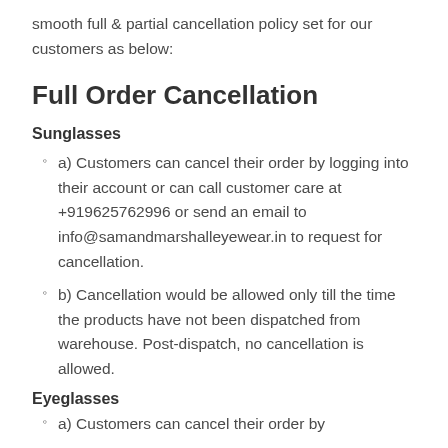smooth full & partial cancellation policy set for our customers as below:
Full Order Cancellation
Sunglasses
a) Customers can cancel their order by logging into their account or can call customer care at +919625762996 or send an email to info@samandmarshalleyewear.in to request for cancellation.
b) Cancellation would be allowed only till the time the products have not been dispatched from warehouse. Post-dispatch, no cancellation is allowed.
Eyeglasses
a) Customers can cancel their order by